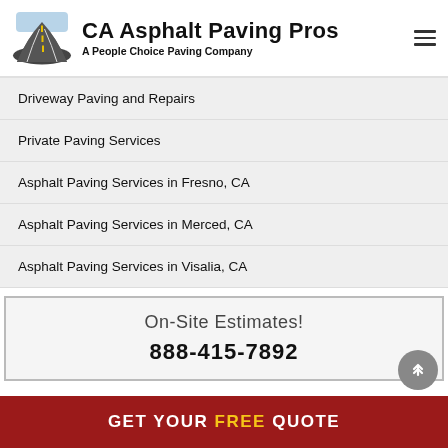CA Asphalt Paving Pros — A People Choice Paving Company
Driveway Paving and Repairs
Private Paving Services
Asphalt Paving Services in Fresno, CA
Asphalt Paving Services in Merced, CA
Asphalt Paving Services in Visalia, CA
On-Site Estimates! 888-415-7892
GET YOUR FREE QUOTE